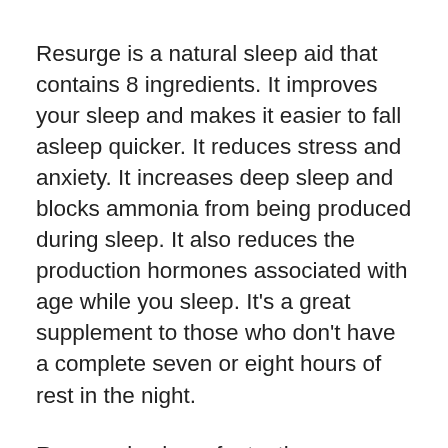Resurge is a natural sleep aid that contains 8 ingredients. It improves your sleep and makes it easier to fall asleep quicker. It reduces stress and anxiety. It increases deep sleep and blocks ammonia from being produced during sleep. It also reduces the production hormones associated with age while you sleep. It's a great supplement to those who don't have a complete seven or eight hours of rest in the night.
Resurge is also a fantastic supplement for people who don't want to go on the diet or adhere to an strict schedule. It works by enhancing the natural psychology of sleep by increasing the amount of energy you have and helping you to fall asleep. It is a